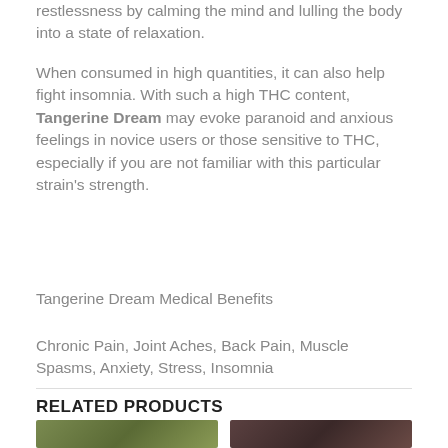restlessness by calming the mind and lulling the body into a state of relaxation.
When consumed in high quantities, it can also help fight insomnia. With such a high THC content, Tangerine Dream may evoke paranoid and anxious feelings in novice users or those sensitive to THC, especially if you are not familiar with this particular strain’s strength.
Tangerine Dream Medical Benefits
Chronic Pain, Joint Aches, Back Pain, Muscle Spasms, Anxiety, Stress, Insomnia
RELATED PRODUCTS
[Figure (photo): Photo of cannabis flower/bud, green coloring, close-up]
[Figure (photo): Photo of cannabis flower/bud, dark brown background with bud]